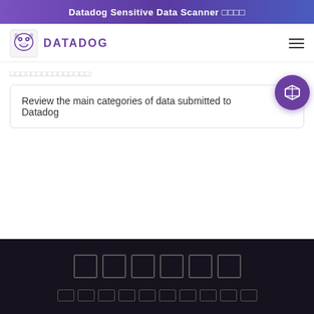Datadog Sensitive Data Scanner 🔒🔒🔒🔒
[Figure (logo): Datadog logo with dog illustration and DATADOG text in purple]
□□□□□□□□□□□□□□□:
Review the main categories of data submitted to Datadog
[Figure (illustration): Purple circular floating button with open book/map icon]
□□□□□□  □□□□□□□□□□□□□□□□